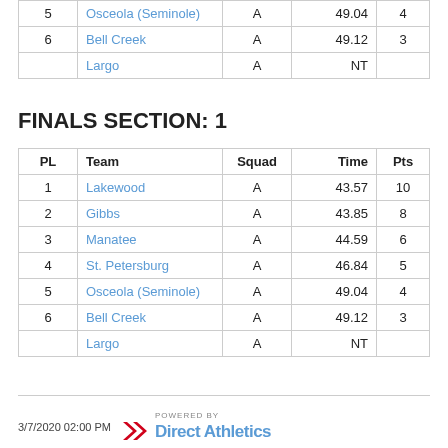| PL | Team | Squad | Time | Pts |
| --- | --- | --- | --- | --- |
| 5 | Osceola (Seminole) | A | 49.04 | 4 |
| 6 | Bell Creek | A | 49.12 | 3 |
|  | Largo | A | NT |  |
FINALS SECTION: 1
| PL | Team | Squad | Time | Pts |
| --- | --- | --- | --- | --- |
| 1 | Lakewood | A | 43.57 | 10 |
| 2 | Gibbs | A | 43.85 | 8 |
| 3 | Manatee | A | 44.59 | 6 |
| 4 | St. Petersburg | A | 46.84 | 5 |
| 5 | Osceola (Seminole) | A | 49.04 | 4 |
| 6 | Bell Creek | A | 49.12 | 3 |
|  | Largo | A | NT |  |
3/7/2020 02:00 PM  POWERED BY Direct Athletics